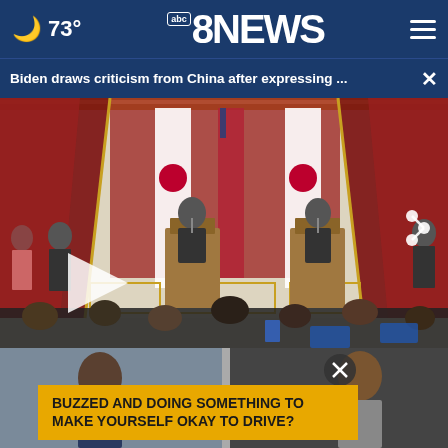73° abc8NEWS
Biden draws criticism from China after expressing ...
[Figure (photo): Press conference scene with two people at podiums, US and Japanese flags in background, audience in foreground with devices, ornate gold-trimmed room]
[Figure (photo): Two people at bottom of screen, left person in suit with tie, right person smiling in casual attire]
BUZZED AND DOING SOMETHING TO MAKE YOURSELF OKAY TO DRIVE?